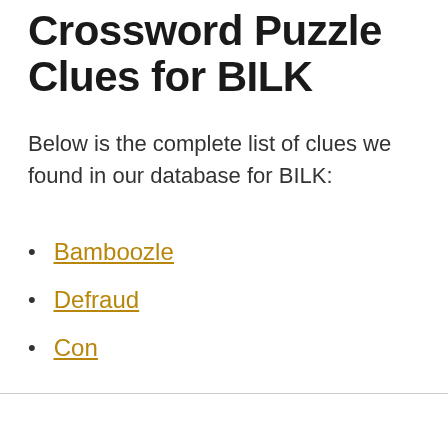Crossword Puzzle Clues for BILK
Below is the complete list of clues we found in our database for BILK:
Bamboozle
Defraud
Con